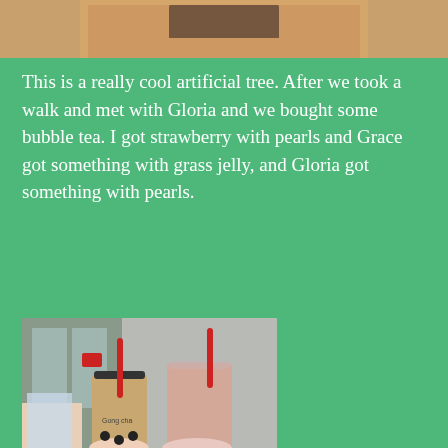[Figure (photo): Partial photo at top of page showing what appears to be an artificial tree with a black rounded top against a tan/orange background.]
This is a really cool artificial tree. After we took a walk and met with Gloria and we bought some bubble tea. I got strawberry with pearls and Grace got something with grass jelly, and Gloria got something with pearls.
[Figure (photo): Photo of people holding bubble tea drinks with red straws outside a building. One drink appears darker (milk tea) and another is lighter/pinkish. Both have red straws. The setting appears to be outside a store or building entrance.]